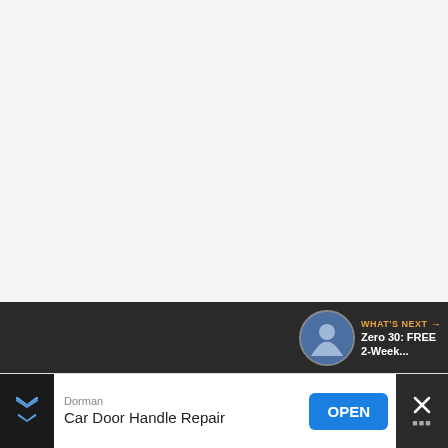[Figure (screenshot): Light gray background area (website/app screenshot upper portion)]
[Figure (infographic): Purple circular heart/like button with heart icon, showing count 6 below, and a circular share button with share icon]
[Figure (screenshot): Dark panel showing video player bottom bar with 'WHAT'S NEXT' label, thumbnail image of person exercising, title 'Zero 30: FREE 2-Week...' and large bold white text '4 Intense']
[Figure (screenshot): Advertisement bar at bottom: Dorman brand, 'Car Door Handle Repair' headline, blue OPEN button, X close icon on right]